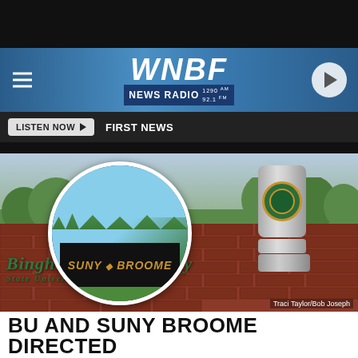WNBF NEWS RADIO 1290 AM / 92.1 FM
LISTEN NOW  FIRST NEWS
[Figure (photo): Photo composite: circular inset of SUNY Broome signage overlaid on a photo of Binghamton University entrance brick wall with 'BINGHAMTON UNIVERSITY STATE UNIVERSITY OF NEW YORK' lettering and university seal column. Photo credit: Traci Taylor/Bob Joseph]
Traci Taylor/Bob Joseph
BU AND SUNY BROOME DIRECTED